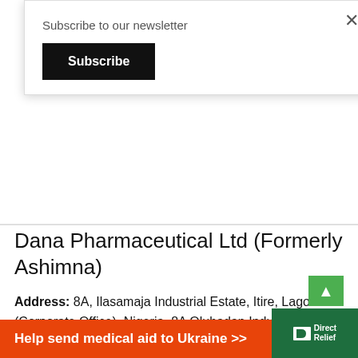Subscribe to our newsletter
Subscribe
Dana Pharmaceutical Ltd (Formerly Ashimna)
Address: 8A, Ilasamaja Industrial Estate, Itire, Lagos (Corporate Office), Nigeria, 8A Olubadan Industrial Estate, Ibadan, Oyo State.
Tel no: +2348090266795
Website: danapharmaceuticals.com
Help send medical aid to Ukraine >> Direct Relief